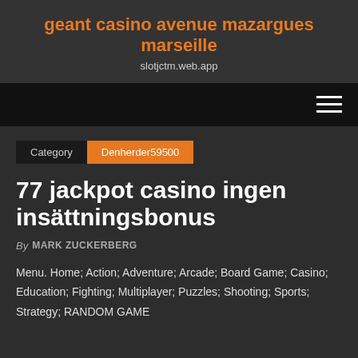geant casino avenue mazargues marseille
slotjctm.web.app
Category  Denherder59500
77 jackpot casino ingen insättningsbonus
By MARK ZUCKERBERG
Menu. Home; Action; Adventure; Arcade; Board Game; Casino; Education; Fighting; Multiplayer; Puzzles; Shooting; Sports; Strategy; RANDOM GAME